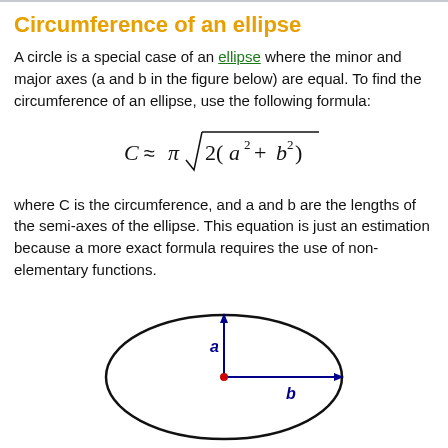Circumference of an ellipse
A circle is a special case of an ellipse where the minor and major axes (a and b in the figure below) are equal. To find the circumference of an ellipse, use the following formula:
where C is the circumference, and a and b are the lengths of the semi-axes of the ellipse. This equation is just an estimation because a more exact formula requires the use of non-elementary functions.
[Figure (illustration): An ellipse with semi-axes labeled: vertical arrow labeled 'a' pointing upward from center, horizontal arrow labeled 'b' pointing rightward from center to edge.]